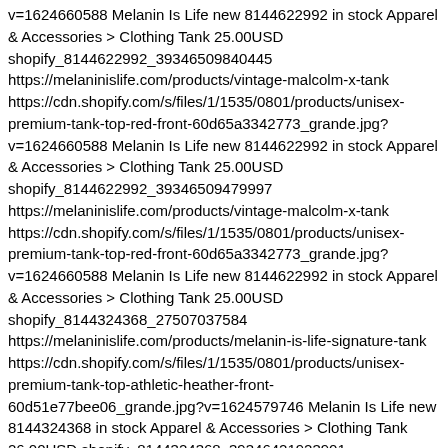v=1624660588 Melanin Is Life new 8144622992 in stock Apparel & Accessories > Clothing Tank 25.00USD shopify_8144622992_39346509840445 https://melaninislife.com/products/vintage-malcolm-x-tank https://cdn.shopify.com/s/files/1/1535/0801/products/unisex-premium-tank-top-red-front-60d65a3342773_grande.jpg?v=1624660588 Melanin Is Life new 8144622992 in stock Apparel & Accessories > Clothing Tank 25.00USD shopify_8144622992_39346509479997 https://melaninislife.com/products/vintage-malcolm-x-tank https://cdn.shopify.com/s/files/1/1535/0801/products/unisex-premium-tank-top-red-front-60d65a3342773_grande.jpg?v=1624660588 Melanin Is Life new 8144622992 in stock Apparel & Accessories > Clothing Tank 25.00USD shopify_8144324368_27507037584 https://melaninislife.com/products/melanin-is-life-signature-tank https://cdn.shopify.com/s/files/1/1535/0801/products/unisex-premium-tank-top-athletic-heather-front-60d51e77bee06_grande.jpg?v=1624579746 Melanin Is Life new 8144324368 in stock Apparel & Accessories > Clothing Tank 26.00USD shopify_8144324368_39346421923901 https://melaninislife.com/products/melanin-is-life-signature-tank https://cdn.shopify.com/s/files/1/1535/0801/products/unisex-premium-tank-top-athletic-heather-front-60d51e77bee06_grande.jpg?v=1624579746 Melanin Is Life new 8144324368 in stock Apparel & Accessories > Clothing Tank